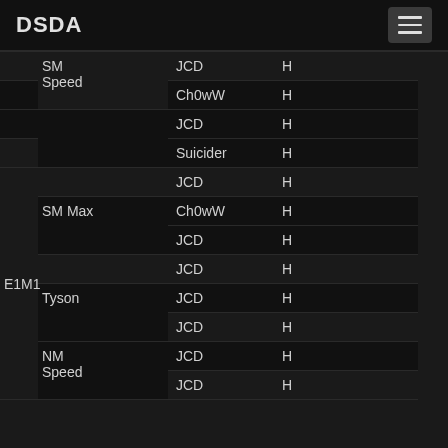DSDA
| Map | Category | Player | Time |
| --- | --- | --- | --- |
|  | SM Speed | JCD Ch0wW | H… |
|  | SM Speed | JCD Suicider | H… |
| E1M1 |  | JCD | H… |
| E1M1 | SM Max | Ch0wW JCD | H… |
| E1M1 |  | JCD | H… |
| E1M1 | Tyson | JCD | H… |
| E1M1 | Tyson | JCD | H… |
| E1M1 | NM Speed | JCD | H… |
| E1M1 | NM Speed | JCD | H… |